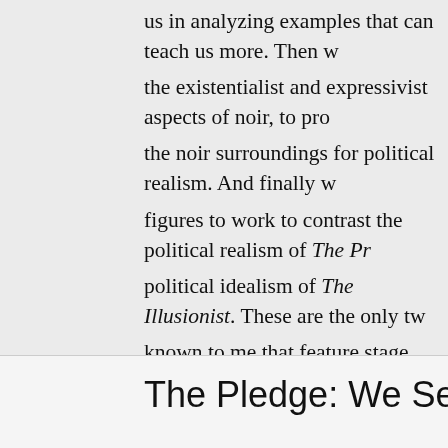us in analyzing examples that can teach us more. Then we examine the existentialist and expressivist aspects of noir, to probe the noir surroundings for political realism. And finally we use figures to work to contrast the political realism of The Prestige with the political idealism of The Illusionist. These are the only two films known to me that feature stage magic, and they were released in consecutive months in 2006. Both are excellent exercises in mythmaking within neo noir as a film genre highly important to America's popular movies of the part quarter-century. Yet they are contraries, and their styles follow suit. Together they enable us to appreciate some features of realism as a political style.
The Pledge: We See Politics as S…
Are you watching closely? Every magic trick consists of three parts or acts. The first part is called the pledge…